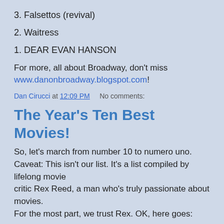3. Falsettos (revival)
2. Waitress
1. DEAR EVAN HANSON
For more, all about Broadway, don't miss www.danonbroadway.blogspot.com!
Dan Cirucci at 12:09 PM    No comments:
The Year's Ten Best Movies!
So, let's march from number 10 to numero uno. Caveat: This isn't our list. It's a list compiled by lifelong movie critic Rex Reed, a man who's truly passionate about movies. For the most part, we trust Rex. OK, here goes:
10. La La Land